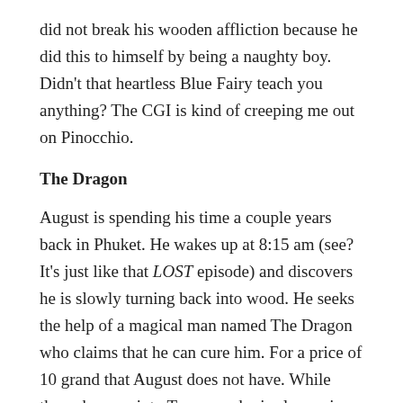did not break his wooden affliction because he did this to himself by being a naughty boy. Didn't that heartless Blue Fairy teach you anything? The CGI is kind of creeping me out on Pinocchio.
The Dragon
August is spending his time a couple years back in Phuket. He wakes up at 8:15 am (see? It's just like that LOST episode) and discovers he is slowly turning back into wood. He seeks the help of a magical man named The Dragon who claims that he can cure him. For a price of 10 grand that August does not have. While there, he runs into Tamara, who is also seeing him for a cure of her own. She claims to have cancer and leaves an envelope full of cash on the counter for August to steal. But don't feel too bad for her just yet. She gets her potion anyway because, how fast can a guy with a wooden